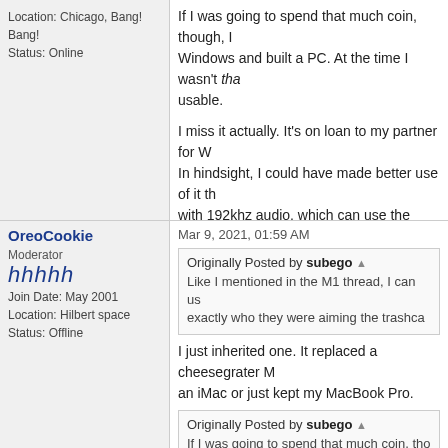Location: Chicago, Bang! Bang!
Status: Online
If I was going to spend that much coin, though, I... Windows and built a PC. At the time I wasn't that... usable.

I miss it actually. It's on loan to my partner for W... In hindsight, I could have made better use of it th... with 192khz audio, which can use the horsepowe...
OreoCookie
Moderator
hhhhh
Join Date: May 2001
Location: Hilbert space
Status: Offline
Mar 9, 2021, 01:59 AM
Originally Posted by subego
Like I mentioned in the M1 thread, I can us... exactly who they were aiming the trashca...
I just inherited one. It replaced a cheesegrater M... an iMac or just kept my MacBook Pro.
Originally Posted by subego
If I was going to spend that much coin, tho... switched to Windows and built a PC. At th...